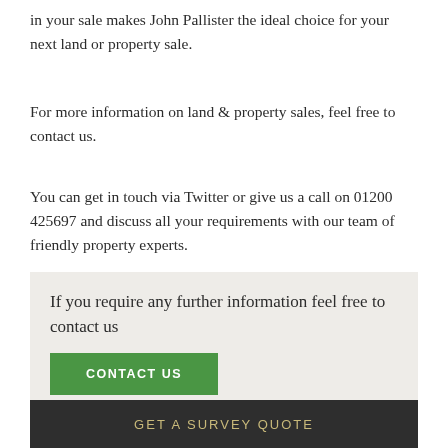in your sale makes John Pallister the ideal choice for your next land or property sale.
For more information on land & property sales, feel free to contact us.
You can get in touch via Twitter or give us a call on 01200 425697 and discuss all your requirements with our team of friendly property experts.
If you require any further information feel free to contact us
CONTACT US
GET A SURVEY QUOTE